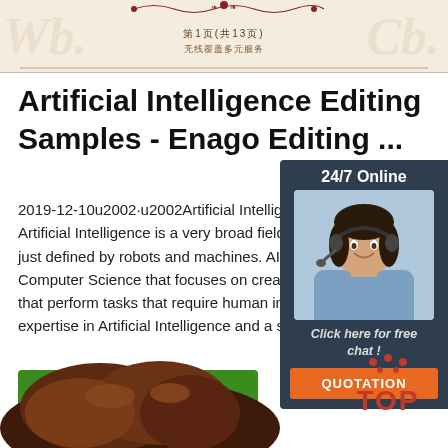第1页(共13页) 无线覆盖多元服务
Artificial Intelligence Editing Samples - Enago Editing ...
2019-12-10u2002·u2002Artificial Intelligence Edi... Artificial Intelligence is a very broad field wherein just defined by robots and machines. AI is an are Computer Science that focuses on creating comp that perform tasks that require human intelligenc expertise in Artificial Intelligence and a staggerin
[Figure (photo): Customer service representative woman with headset, for chat widget]
24/7 Online
Click here for free chat !
QUOTATION
Get Price
[Figure (photo): Brown chocolate food item at bottom of page]
[Figure (other): TOP back-to-top button with orange dots above letters]